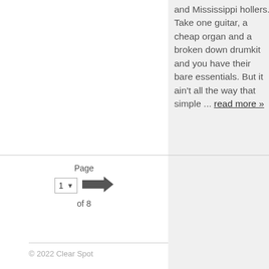and Mississippi hollers. Take one guitar, a cheap organ and a broken down drumkit and you have their bare essentials. But it ain't all the way that simple ... read more »
[Figure (other): Pagination control showing 'Page 1 of 8' with a dropdown selector and a right-arrow navigation button]
© 2022 Clear Spot